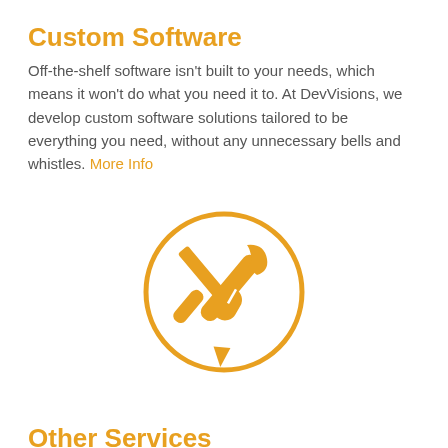Custom Software
Off-the-shelf software isn't built to your needs, which means it won't do what you need it to. At DevVisions, we develop custom software solutions tailored to be everything you need, without any unnecessary bells and whistles. More Info
[Figure (illustration): Orange circle icon containing crossed screwdriver and wrench tools]
Other Services
We also offer Network Security, Firewalls, Hosting, Automation,